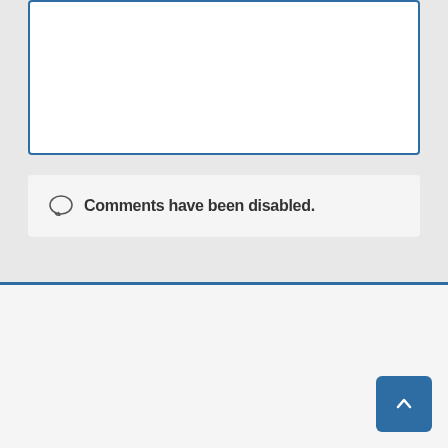[Figure (other): White text input box with blue border, representing a comment or form textarea area]
Comments have been disabled.
MENU
Register
Log in
Entries feed